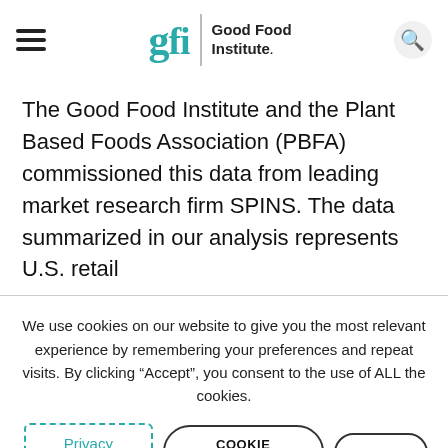Good Food Institute — navigation header with hamburger menu, GFI logo, and search button
The Good Food Institute and the Plant Based Foods Association (PBFA) commissioned this data from leading market research firm SPINS. The data summarized in our analysis represents U.S. retail
We use cookies on our website to give you the most relevant experience by remembering your preferences and repeat visits. By clicking “Accept”, you consent to the use of ALL the cookies.
Privacy notice | COOKIE SETTINGS | REJECT | ACCEPT